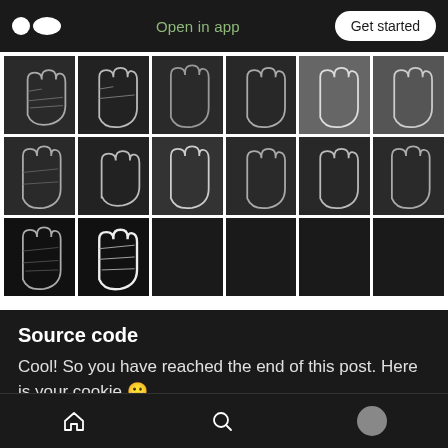Open in app | Get started
[Figure (photo): A grid of 14 hand palm images shown in grayscale/outline style on dark backgrounds, arranged in 3 rows: 6 in the first row, 6 in the second row, and 2 in the third row.]
Source code
Cool! So you have reached the end of this post. Here is your cookie 😀
My Github link — https://github.com/asingh33
Home | Search | Profile